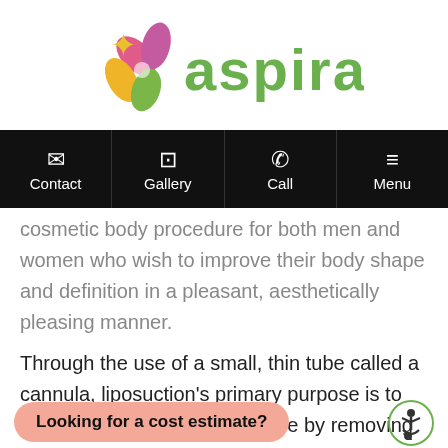[Figure (logo): Aspira cosmetic surgery logo with colorful flower icon and green 'aspira' text]
Contact | Gallery | Call | Menu
cosmetic body procedure for both men and women who wish to improve their body shape and definition in a pleasant, aesthetically pleasing manner.
Through the use of a small, thin tube called a cannula, liposuction's primary purpose is to improve the body's appearance by removing excess fat from localized areas of
Looking for a cost estimate?